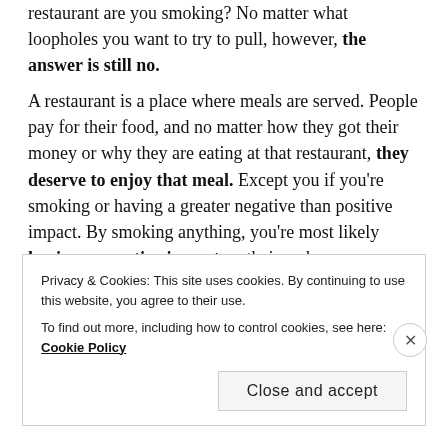restaurant are you smoking? No matter what loopholes you want to try to pull, however, the answer is still no.

A restaurant is a place where meals are served. People pay for their food, and no matter how they got their money or why they are eating at that restaurant, they deserve to enjoy that meal. Except you if you're smoking or having a greater negative than positive impact. By smoking anything, you're most likely having a negative impact on their and everyone else's experience, but let's get even more back on track.

In the picture above, these two individuals stood up
Privacy & Cookies: This site uses cookies. By continuing to use this website, you agree to their use.
To find out more, including how to control cookies, see here: Cookie Policy
Close and accept